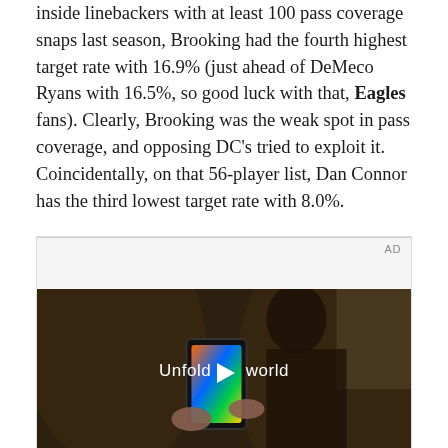inside linebackers with at least 100 pass coverage snaps last season, Brooking had the fourth highest target rate with 16.9% (just ahead of DeMeco Ryans with 16.5%, so good luck with that, Eagles fans). Clearly, Brooking was the weak spot in pass coverage, and opposing DC's tried to exploit it. Coincidentally, on that 56-player list, Dan Connor has the third lowest target rate with 8.0%.
[Figure (other): Advertisement video player showing 'Unfold your world' Samsung advertisement with a woman holding a foldable phone in a car interior]